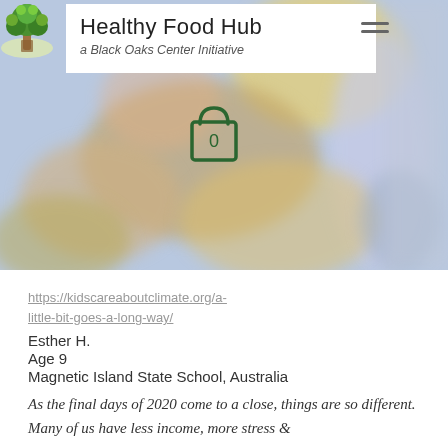Healthy Food Hub — a Black Oaks Center Initiative
[Figure (illustration): Blurred colorful artwork used as hero banner image, with a white navigation overlay box containing site title, subtitle, hamburger menu icon, and a shopping cart icon showing 0 items]
https://kidscareaboutclimate.org/a-little-bit-goes-a-long-way/
Esther H.
Age 9
Magnetic Island State School, Australia
As the final days of 2020 come to a close, things are so different. Many of us have less income, more stress &